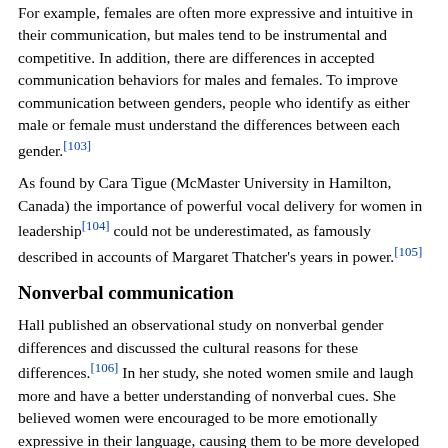For example, females are often more expressive and intuitive in their communication, but males tend to be instrumental and competitive. In addition, there are differences in accepted communication behaviors for males and females. To improve communication between genders, people who identify as either male or female must understand the differences between each gender.[103]
As found by Cara Tigue (McMaster University in Hamilton, Canada) the importance of powerful vocal delivery for women in leadership[104] could not be underestimated, as famously described in accounts of Margaret Thatcher's years in power.[105]
Nonverbal communication
Hall published an observational study on nonverbal gender differences and discussed the cultural reasons for these differences.[106] In her study, she noted women smile and laugh more and have a better understanding of nonverbal cues. She believed women were encouraged to be more emotionally expressive in their language, causing them to be more developed in nonverbal communication.
Men, on the other hand, were taught to be less expressive, to